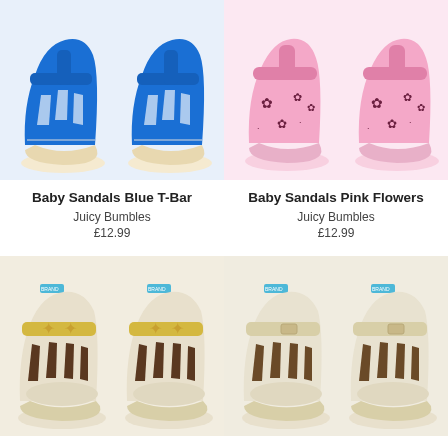[Figure (photo): Blue T-Bar baby sandals pair, bright cobalt blue leather with cutout straps]
Baby Sandals Blue T-Bar
Juicy Bumbles
£12.99
[Figure (photo): Pink Flowers baby sandals pair, pink leather with flower cutout pattern]
Baby Sandals Pink Flowers
Juicy Bumbles
£12.99
[Figure (photo): Cream baby sandals with starfish motif and yellow strap, blue brand tag]
[Figure (photo): Cream/beige baby sandals with cutout straps, blue brand tag]